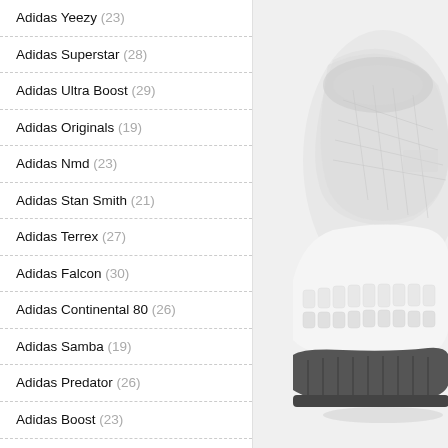Adidas Yeezy (23)
Adidas Superstar (28)
Adidas Ultra Boost (29)
Adidas Originals (19)
Adidas Nmd (23)
Adidas Stan Smith (21)
Adidas Terrex (27)
Adidas Falcon (30)
Adidas Continental 80 (26)
Adidas Samba (19)
Adidas Predator (26)
Adidas Boost (23)
Adidas Sale (2)
Adidas Running Shoes (20)
Adidas Zx 750 (18)
Adidas Spezial (26)
[Figure (photo): White Adidas Ultra Boost sneaker close-up showing the heel and midsole area against a light background]